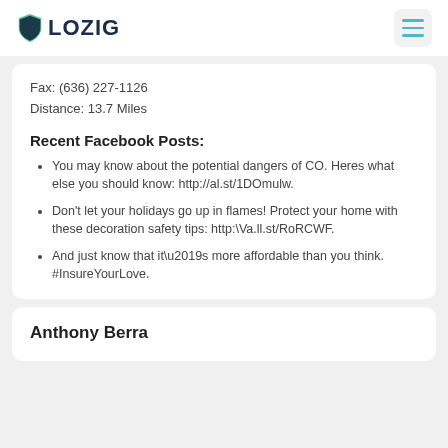[Figure (logo): LOZIG insurance logo with shield icon in teal/green]
Fax: (636) 227-1126
Distance: 13.7 Miles
Recent Facebook Posts:
You may know about the potential dangers of CO. Heres what else you should know: http://al.st/1DOmulw.
Don't let your holidays go up in flames! Protect your home with these decoration safety tips: http:\Va.ll.st/RoRCWF.
And just know that it\u2019s more affordable than you think. #InsureYourLove.
Anthony Berra